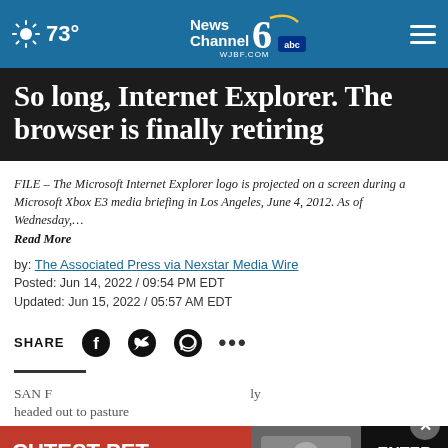73° | News Channel 6 abc | WJBF.COM
So long, Internet Explorer. The browser is finally retiring
FILE – The Microsoft Internet Explorer logo is projected on a screen during a Microsoft Xbox E3 media briefing in Los Angeles, June 4, 2012. As of Wednesday,… Read More
by: The Associated Press via Nexstar Media Wire
Posted: Jun 14, 2022 / 09:54 PM EDT
Updated: Jun 15, 2022 / 05:57 AM EDT
SHARE
SAN F… headed out to pasture